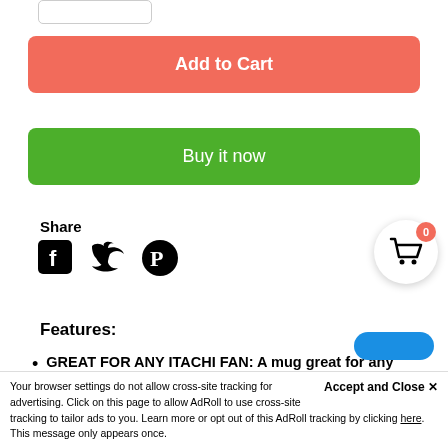[Figure (screenshot): Quantity selector box at top left]
Add to Cart
Buy it now
Share
[Figure (other): Social share icons: Facebook, Twitter, Pinterest]
[Figure (other): Shopping cart badge icon with 0 count]
Features:
GREAT FOR ANY ITACHI FAN: A mug great for any Itachi fan, see him in action while he was still within the Leaf Village. With the p...
Accept and Close ✕
Your browser settings do not allow cross-site tracking for advertising. Click on this page to allow AdRoll to use cross-site tracking to tailor ads to you. Learn more or opt out of this AdRoll tracking by clicking here. This message only appears once.